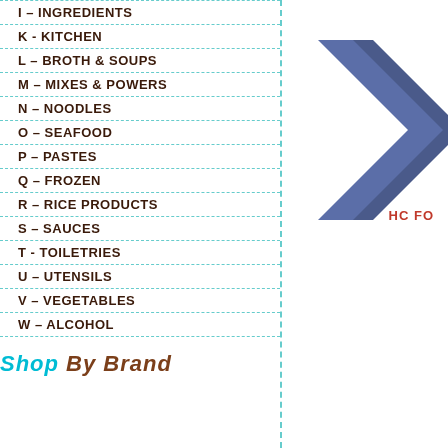I – INGREDIENTS
K - KITCHEN
L – BROTH & SOUPS
M – MIXES & POWERS
N – NOODLES
O – SEAFOOD
P – PASTES
Q – FROZEN
R – RICE PRODUCTS
S – SAUCES
T - TOILETRIES
U – UTENSILS
V – VEGETABLES
W – ALCOHOL
Shop By Brand
[Figure (logo): Blue chevron/arrow shape with text HC FO]